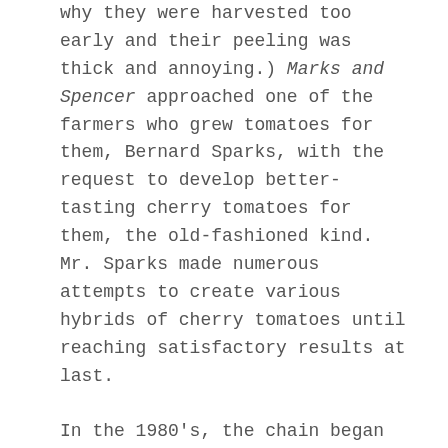why they were harvested too early and their peeling was thick and annoying.) Marks and Spencer approached one of the farmers who grew tomatoes for them, Bernard Sparks, with the request to develop better-tasting cherry tomatoes for them, the old-fashioned kind. Mr. Sparks made numerous attempts to create various hybrids of cherry tomatoes until reaching satisfactory results at last.

In the 1980's, the chain began marketing Spencer's first cherry tomato species in Europe and overseas. At the same time, a senior member of the chain, Natan Goldenberg, turned to two professors from the Faculty of Agriculture in Rehovot, Professor Nachum Kedar and Professor Chaim Rabinowitz, who at the time were researching the compatibility of tomatoes with